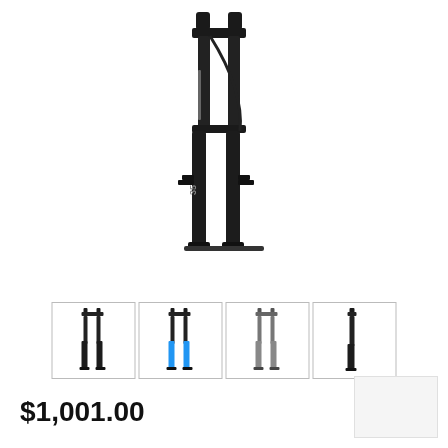[Figure (photo): Black mountain bike front suspension fork (RockShox or similar) shown vertically against white background, with dual stanchions, crown, and disc brake mounts visible. Product has silver/white logo decals on legs.]
[Figure (photo): Row of four thumbnail images of the same suspension fork product from different angles or color variants: first black fork, second fork with blue accent, third lighter/silver fork, fourth partial/close-up view.]
$1,001.00